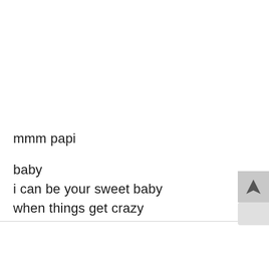mmm papi
baby
i can be your sweet baby
when things get crazy